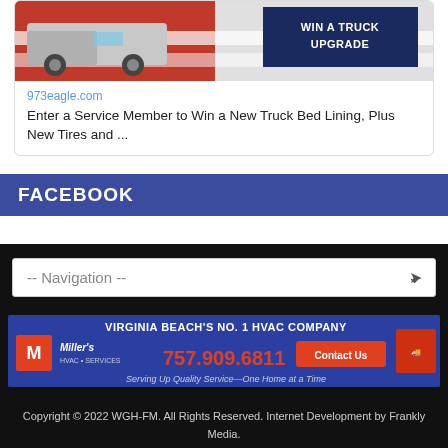[Figure (photo): Promotional card showing a silver truck with red and white American flag design background and a dark navy banner reading WIN A TRUCK UPGRADE]
973eagle.com
Enter a Service Member to Win a New Truck Bed Lining, Plus New Tires and ...
FACEBOOK
-- Navigation --
[Figure (infographic): Miller's HVAC advertisement banner: VIRGINIA BEACH'S NO. 1 HVAC COMPANY, 757.909.6811, Contact Us button, Serving Up Quality Service—One Home at a Time]
Copyright © 2022 WGH-FM. All Rights Reserved. Internet Development by Frankly Media.